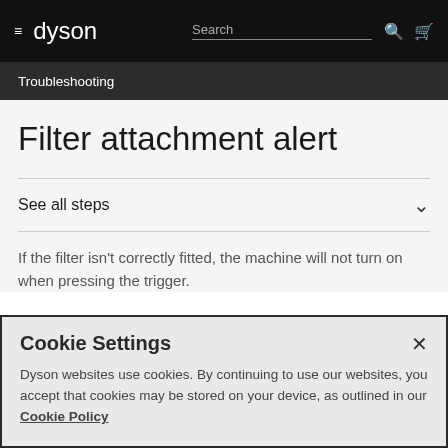dyson | Search
Troubleshooting
Filter attachment alert
See all steps
If the filter isn't correctly fitted, the machine will not turn on when pressing the trigger.
Cookie Settings
Dyson websites use cookies. By continuing to use our websites, you accept that cookies may be stored on your device, as outlined in our Cookie Policy